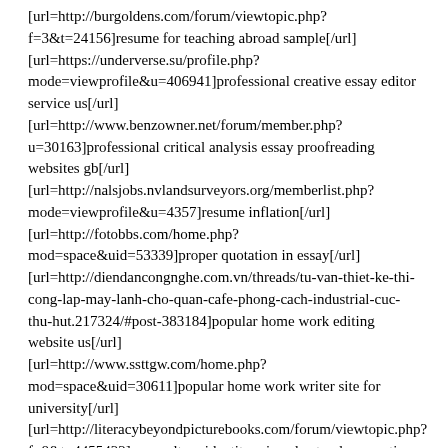[url=http://burgoldens.com/forum/viewtopic.php?f=3&t=24156]resume for teaching abroad sample[/url]
[url=https://underverse.su/profile.php?mode=viewprofile&u=406941]professional creative essay editor service us[/url]
[url=http://www.benzowner.net/forum/member.php?u=30163]professional critical analysis essay proofreading websites gb[/url]
[url=http://nalsjobs.nvlandsurveyors.org/memberlist.php?mode=viewprofile&u=4357]resume inflation[/url]
[url=http://fotobbs.com/home.php?mod=space&uid=53339]proper quotation in essay[/url]
[url=http://diendancongnghe.com.vn/threads/tu-van-thiet-ke-thi-cong-lap-may-lanh-cho-quan-cafe-phong-cach-industrial-cuc-thu-hut.217324/#post-383184]popular home work editing website us[/url]
[url=http://www.ssttgw.com/home.php?mod=space&uid=30611]popular home work writer site for university[/url]
[url=http://literacybeyondpicturebooks.com/forum/viewtopic.php?f=8&t=4455422]race culture identity misunderstood connections essay[/url]
[url=http://uh-mysql.000webhostapp.com/memberlist.php?mode=viewprofile&u=1234]professional critical essay writing site[/url]
[url=http://barracuda.by/forum/viewtopic.php?f=7&t=727124]professional cheap essay writing for hire[/url]